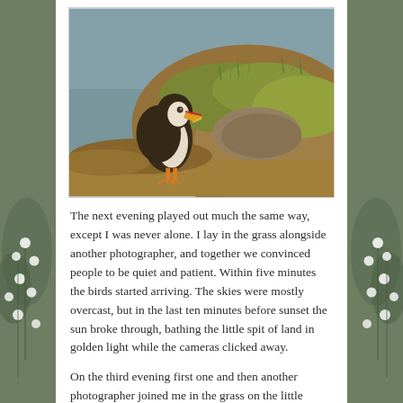[Figure (photo): A puffin bird standing on mossy rocky ground with grass, facing slightly upward. Blue water visible in background. Golden warm light illuminating the scene.]
The next evening played out much the same way, except I was never alone. I lay in the grass alongside another photographer, and together we convinced people to be quiet and patient. Within five minutes the birds started arriving. The skies were mostly overcast, but in the last ten minutes before sunset the sun broke through, bathing the little spit of land in golden light while the cameras clicked away.
On the third evening first one and then another photographer joined me in the grass on the little hillock